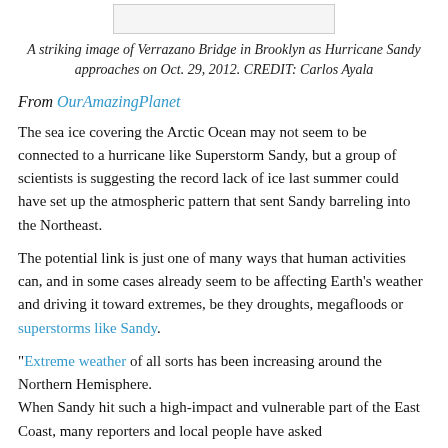[Figure (photo): Partial image of Verrazano Bridge in Brooklyn as Hurricane Sandy approaches]
A striking image of Verrazano Bridge in Brooklyn as Hurricane Sandy approaches on Oct. 29, 2012. CREDIT: Carlos Ayala
From OurAmazingPlanet
The sea ice covering the Arctic Ocean may not seem to be connected to a hurricane like Superstorm Sandy, but a group of scientists is suggesting the record lack of ice last summer could have set up the atmospheric pattern that sent Sandy barreling into the Northeast.
The potential link is just one of many ways that human activities can, and in some cases already seem to be affecting Earth's weather and driving it toward extremes, be they droughts, megafloods or superstorms like Sandy.
"Extreme weather of all sorts has been increasing around the Northern Hemisphere.
When Sandy hit such a high-impact and vulnerable part of the East Coast, many reporters and local people have asked